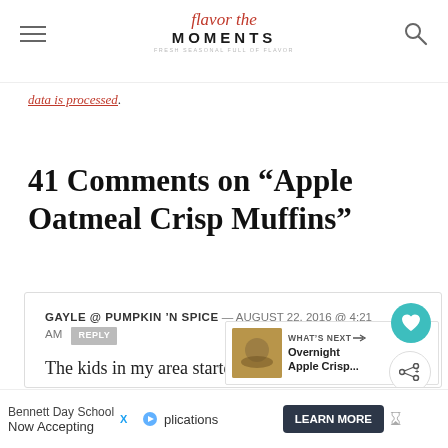Flavor the Moments — Fresh Seasonal Full of Flavor
data is processed.
41 Comments on “Apple Oatmeal Crisp Muffins”
GAYLE @ PUMPKIN ’N SPICE — AUGUST 22, 2016 @ 4:21 AM REPLY
The kids in my area started school last Wednesday, and I already noticed it be quieter in my neighborhood! I would love to
[Figure (other): What's Next overlay showing Overnight Apple Crisp... thumbnail]
Bennett Day School
Now Accepting
Applications
LEARN MORE